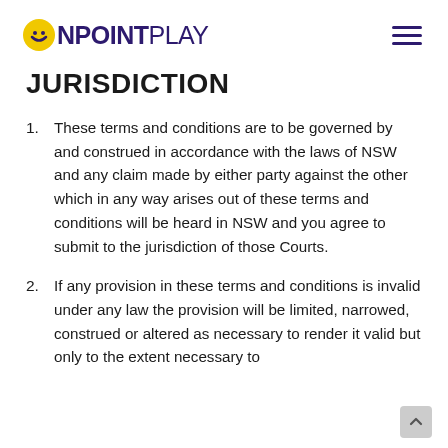ONPOINTPLAY
JURISDICTION
These terms and conditions are to be governed by and construed in accordance with the laws of NSW and any claim made by either party against the other which in any way arises out of these terms and conditions will be heard in NSW and you agree to submit to the jurisdiction of those Courts.
If any provision in these terms and conditions is invalid under any law the provision will be limited, narrowed, construed or altered as necessary to render it valid but only to the extent necessary to